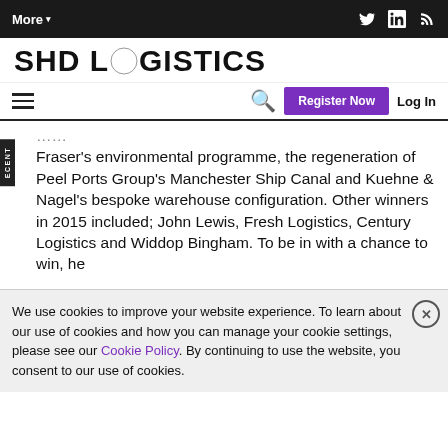More▾  [Twitter] [LinkedIn] [RSS]
[Figure (logo): SHD Logistics logo with stylized compass/circle icon]
Register Now  Log In
Fraser's environmental programme, the regeneration of Peel Ports Group's Manchester Ship Canal and Kuehne & Nagel's bespoke warehouse configuration. Other winners in 2015 included; John Lewis, Fresh Logistics, Century Logistics and Widdop Bingham. To be in with a chance to win, he
We use cookies to improve your website experience. To learn about our use of cookies and how you can manage your cookie settings, please see our Cookie Policy. By continuing to use the website, you consent to our use of cookies.